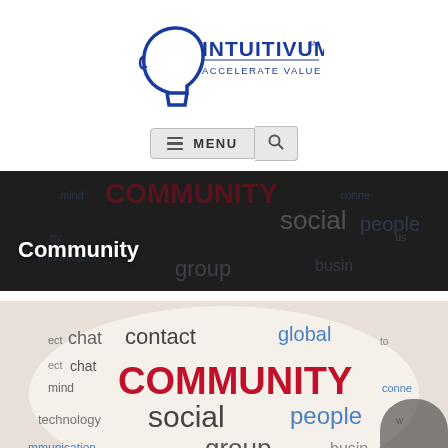[Figure (logo): Intuitivum logo with head silhouette and text 'INTUITIVUM ACCELERATE VALUE CREATION']
[Figure (other): Navigation menu bar with hamburger icon, MENU text button, and search icon button]
[Figure (other): Banner image with dark overlay showing community-related words (COMMUNITY, social, people, mind, group, business, etc.) and white bold text 'Community' overlay]
[Figure (photo): Photo of word cloud on a lens/sphere shape with words: chat, contact, global, COMMUNITY (red bold), social, people, technology, mind, communication, group, business, connect, information]